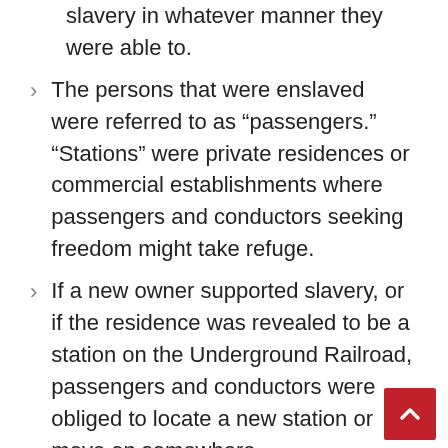slavery in whatever manner they were able to.
The persons that were enslaved were referred to as “passengers.” “Stations” were private residences or commercial establishments where passengers and conductors seeking freedom might take refuge.
If a new owner supported slavery, or if the residence was revealed to be a station on the Underground Railroad, passengers and conductors were obliged to locate a new station or move on somewhere.
Only a small number of people kept records of this hidden activity in order